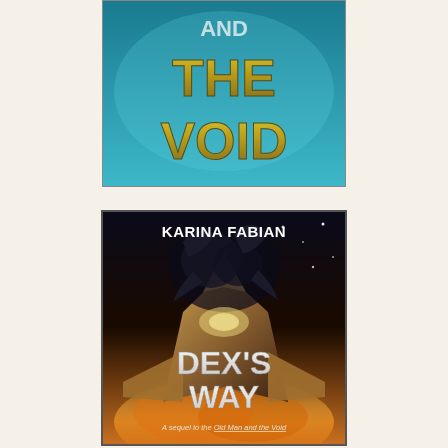[Figure (illustration): Top portion of a book cover showing 'AND THE VOID' in large gold/yellow distressed lettering on a teal/cyan background]
[Figure (illustration): Book cover for 'DEX'S WAY' by Karina Fabian. Author name in bold white text at top. Large futuristic spacecraft/spaceship imagery in dark tones with dramatic lighting. Title 'DEX'S WAY' in large white distressed letters in lower half. Subtitle at bottom: 'A sequel to the Old Man and the Void']